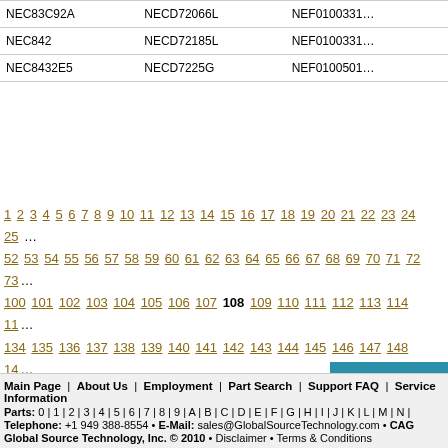| NEC83C92A | NECD72066L | NEF0100331... |
| NEC842 | NECD72185L | NEF0100331... |
| NEC8432E5 | NECD7225G | NEF0100501... |
1 2 3 4 5 6 7 8 9 10 11 12 13 14 15 16 17 18 19 20 21 22 23 24 25 ... 52 53 54 55 56 57 58 59 60 61 62 63 64 65 66 67 68 69 70 71 72 73... 100 101 102 103 104 105 106 107 108 109 110 111 112 113 114 11... 134 135 136 137 138 139 140 141 142 143 144 145 146 147 148 14... 168 169 170 171 172 173 174 175 176 177 178 179 180 181 182 18... 202 203 204 205 206 207 208 209 210 211 212 213 214 215 216 21... 236 237 238 239 240 241 242 243 244 245 246 247 248...
Main Page | About Us | Employment | Part Search | Support FAQ | Service Information
Parts: 0|1|2|3|4|5|6|7|8|9|A|B|C|D|E|F|G|H|I|J|K|L|M|N|
Telephone: +1 949 388-8554 • E-Mail: sales@GlobalSourceTechnology.com • CAG
Global Source Technology, Inc. © 2010 • Disclaimer • Terms & Conditions